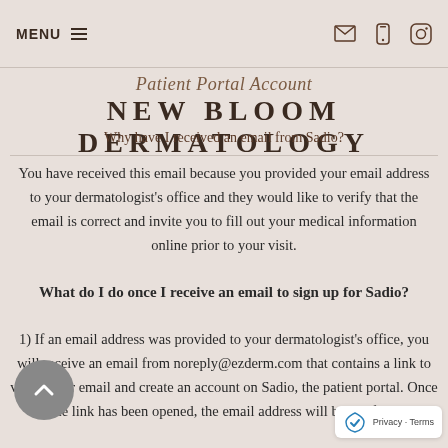MENU  [hamburger icon] [envelope icon] [phone icon] [instagram icon]
Patient Portal Account
NEW BLOOM DERMATOLOGY
Why have I received an email from Sadio?
You have received this email because you provided your email address to your dermatologist's office and they would like to verify that the email is correct and invite you to fill out your medical information online prior to your visit.
What do I do once I receive an email to sign up for Sadio?
1) If an email address was provided to your dermatologist's office, you will receive an email from noreply@ezderm.com that contains a link to verify your email and create an account on Sadio, the patient portal. Once the link has been opened, the email address will be verified.